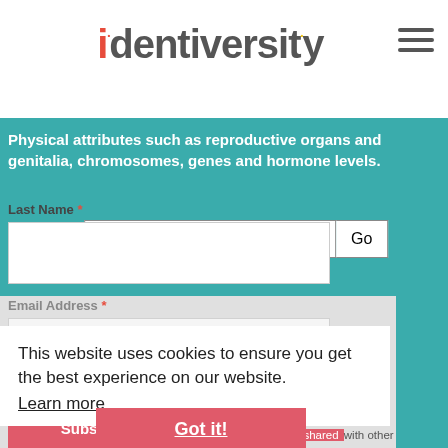[Figure (logo): Identiversity logo with colorful dot accents on the two i letters]
[Figure (screenshot): Hamburger menu icon (three horizontal lines)]
[Figure (screenshot): Search bar with text input field labeled Search and a Go button]
Physical attributes such as reproductive organs and genitalia, chromosomes, genes and hormone levels.
Last Name *
Email Address *
This website uses cookies to ensure you get the best experience on our website.
Learn more
Privacy Policy *
By subscribing you are agreeing to our privacy policy. The information you provide will only be used by Identiversity Inc. and not shared with other organizations in any manner.
Got it!
Subscribe